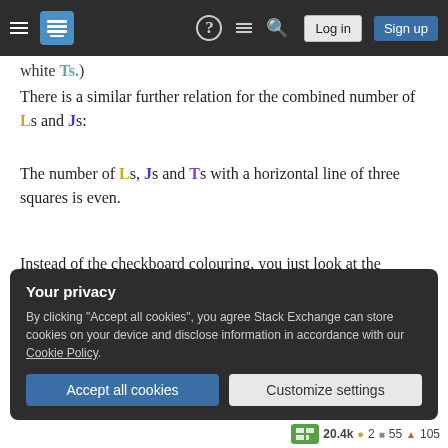Stack Exchange navigation bar with hamburger menu, logo, help, feed, search, Log in, Sign up
white Ts.)
There is a similar further relation for the combined number of Ls and Js:
The number of Ls, Js and Ts with a horizontal line of three squares is even.
Instead of the checkboard colouring, you just look at the alternate coloring of whole rows and see that these pieces are exactly the ones that contribute an odd number of black squares.
Your privacy
By clicking "Accept all cookies", you agree Stack Exchange can store cookies on your device and disclose information in accordance with our Cookie Policy.
Accept all cookies   Customize settings
20.4k  2  55  105